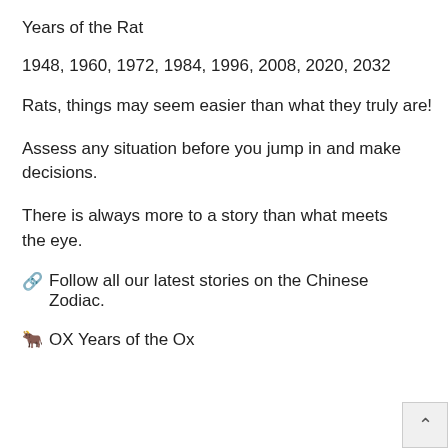Years of the Rat
1948, 1960, 1972, 1984, 1996, 2008, 2020, 2032
Rats, things may seem easier than what they truly are!
Assess any situation before you jump in and make decisions.
There is always more to a story than what meets the eye.
🔗  Follow all our latest stories on the Chinese Zodiac.
🐂 OX
Years of the Ox